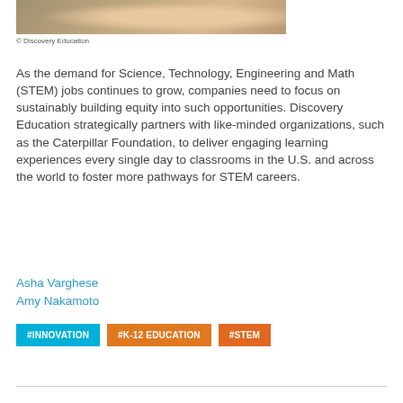[Figure (photo): Partial view of hands working with colorful science/STEM model balls (molecular or similar educational manipulatives)]
© Discovery Education
As the demand for Science, Technology, Engineering and Math (STEM) jobs continues to grow, companies need to focus on sustainably building equity into such opportunities. Discovery Education strategically partners with like-minded organizations, such as the Caterpillar Foundation, to deliver engaging learning experiences every single day to classrooms in the U.S. and across the world to foster more pathways for STEM careers.
Asha Varghese
Amy Nakamoto
#INNOVATION  #K-12 EDUCATION  #STEM